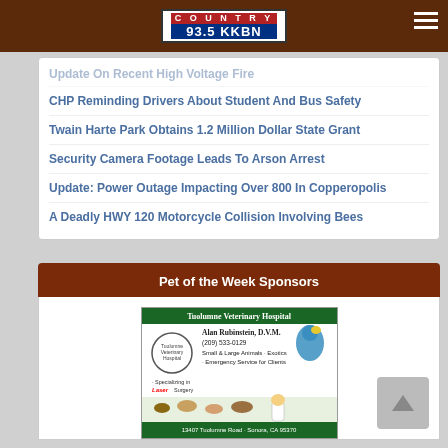COUNTRY 93.5 KKBN
Update On Recent High Voltage Fire
CHP Reminding Drivers About Student And Bus Safety
Twain Harte Park Obtains 1.2 Million Dollar State Grant
Security Camera Footage Leads To Arson Arrest
Update: Power Outage Impacting Over 800 In Copperopolis
A Deadly HWY 120 Motorcycle Collision Involving Bees
Pet of the Week Sponsors
[Figure (advertisement): Tuolumne Veterinary Hospital advertisement featuring Alan Rubinstein D.V.M., (209) 533-0129, Small & Large Animals, Exotics, Emergency Service for Clients, Specializing in Laser Surgery, 13407 Tuolumne Road, Sonora, CA 95370]